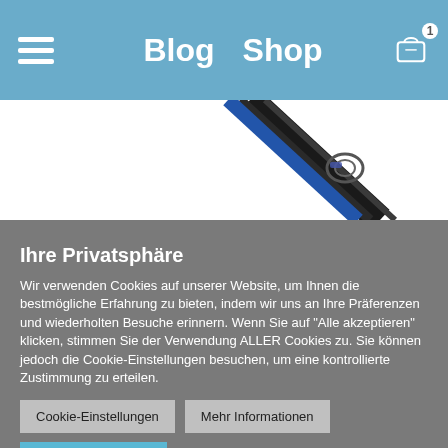Blog  Shop
[Figure (photo): Partial product image showing a wiper blade or similar automotive accessory against a white background]
Ihre Privatsphäre
Wir verwenden Cookies auf unserer Website, um Ihnen die bestmögliche Erfahrung zu bieten, indem wir uns an Ihre Präferenzen und wiederholten Besuche erinnern. Wenn Sie auf "Alle akzeptieren" klicken, stimmen Sie der Verwendung ALLER Cookies zu. Sie können jedoch die Cookie-Einstellungen besuchen, um eine kontrollierte Zustimmung zu erteilen.
Cookie-Einstellungen
Mehr Informationen
Alle akzeptieren